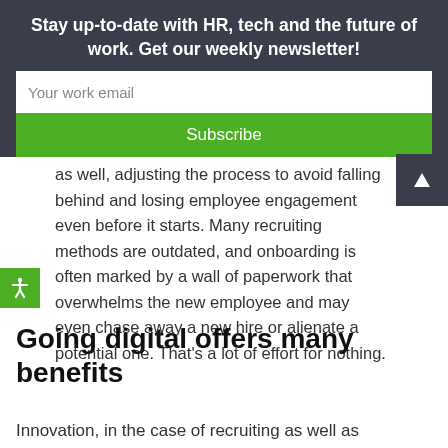Stay up-to-date with HR, tech and the future of work. Get our weekly newsletter!
Your work email
Subscribe
as well, adjusting the process to avoid falling behind and losing employee engagement even before it starts. Many recruiting methods are outdated, and onboarding is often marked by a wall of paperwork that overwhelms the new employee and may even chase away a new hire or alienate a potential one. That’s a lot of effort for nothing.
Going digital offers many benefits
Innovation, in the case of recruiting as well as